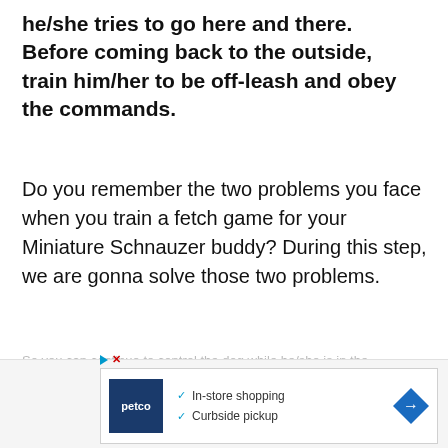he/she tries to go here and there. Before coming back to the outside, train him/her to be off-leash and obey the commands.
Do you remember the two problems you face when you train a fetch game for your Miniature Schnauzer buddy? During this step, we are gonna solve those two problems.
When you throw the ball, he/she catches it and doesn't come back to you.
[Figure (other): Petco advertisement banner showing in-store shopping and curbside pickup options with Petco logo and navigation arrow]